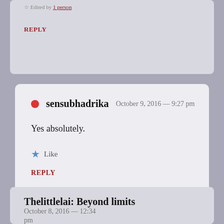Edited by 1 person
REPLY
sensubhadrika  October 9, 2016 — 9:27 pm
Yes absolutely.
Like
REPLY
Thelittlelai: Beyond limits  October 8, 2016 — 12:34 pm